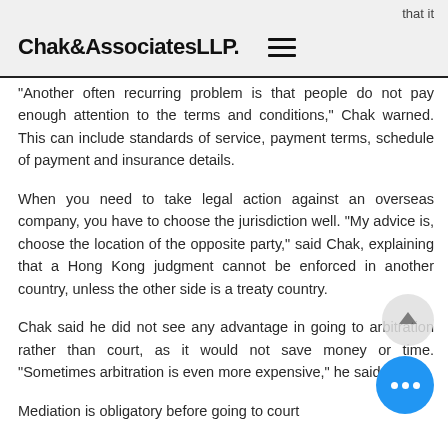that it
Chak&AssociatesLLP.
"Another often recurring problem is that people do not pay enough attention to the terms and conditions," Chak warned. This can include standards of service, payment terms, schedule of payment and insurance details.
When you need to take legal action against an overseas company, you have to choose the jurisdiction well. "My advice is, choose the location of the opposite party," said Chak, explaining that a Hong Kong judgment cannot be enforced in another country, unless the other side is a treaty country.
Chak said he did not see any advantage in going to arbitration rather than court, as it would not save money or time. "Sometimes arbitration is even more expensive," he said.
Mediation is obligatory before going to court